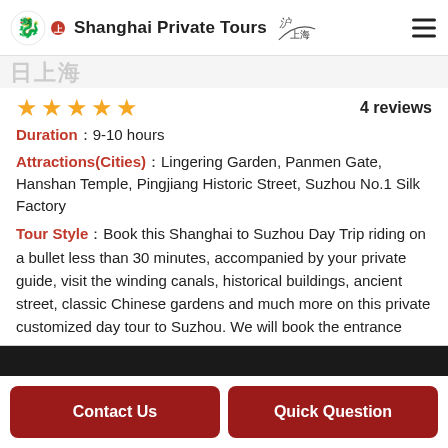Shanghai Private Tours
★★★★★   4 reviews
Duration：9-10 hours
Attractions(Cities)：Lingering Garden, Panmen Gate, Hanshan Temple, Pingjiang Historic Street, Suzhou No.1 Silk Factory
Tour Style：Book this Shanghai to Suzhou Day Trip riding on a bullet less than 30 minutes, accompanied by your private guide, visit the winding canals, historical buildings, ancient street, classic Chinese gardens and much more on this private customized day tour to Suzhou. We will book the entrance tickets in advance to escape the crowds, let you jump the queue to make your trip comfortable and enjoyable.